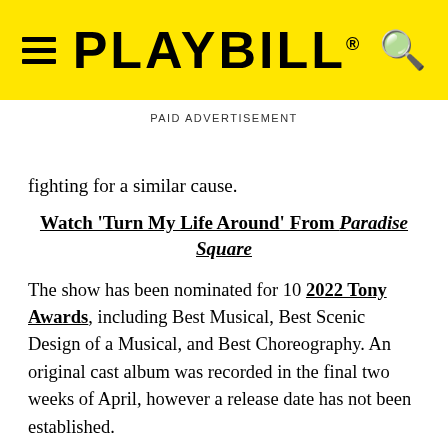PLAYBILL
PAID ADVERTISEMENT
fighting for a similar cause.
Watch 'Turn My Life Around' From Paradise Square
The show has been nominated for 10 2022 Tony Awards, including Best Musical, Best Scenic Design of a Musical, and Best Choreography. An original cast album was recorded in the final two weeks of April, however a release date has not been established.
The 40-member cast is led by Tony nominee Joaquina Kalukango (Slave Play), Chilina Kennedy (Beautiful: The Carole King Musical), Tony nominee, John Dossett (Gypsy)